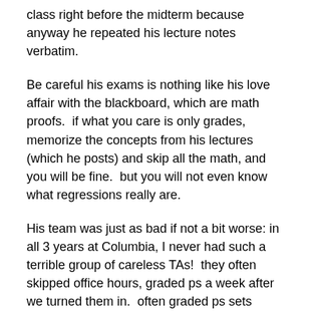class right before the midterm because anyway he repeated his lecture notes verbatim.
Be careful his exams is nothing like his love affair with the blackboard, which are math proofs.  if what you care is only grades, memorize the concepts from his lectures (which he posts) and skip all the math, and you will be fine.  but you will not even know what regressions really are.
His team was just as bad if not a bit worse: in all 3 years at Columbia, I never had such a terrible group of careless TAs!  they often skipped office hours, graded ps a week after we turned them in.  often graded ps sets wrong, especially that prick victor.  but there was nobody to put some order to the class.  kristensen is too nice to instruct TAs, he was never capable of daring to change an obviously wrongly graded problem set, let alone an exam.